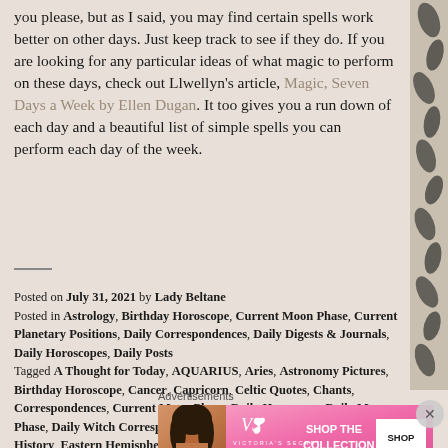you please, but as I said, you may find certain spells work better on other days. Just keep track to see if they do. If you are looking for any particular ideas of what magic to perform on these days, check out Llwellyn's article, Magic, Seven Days a Week by Ellen Dugan. It too gives you a run down of each day and a beautiful list of simple spells you can perform each day of the week.
Posted on July 31, 2021 by Lady Beltane
Posted in Astrology, Birthday Horoscope, Current Moon Phase, Current Planetary Positions, Daily Correspondences, Daily Digests & Journals, Daily Horoscopes, Daily Posts
Tagged A Thought for Today, AQUARIUS, Aries, Astronomy Pictures, Birthday Horoscope, Cancer, Capricorn, Celtic Quotes, Chants, Correspondences, Current Moon Phase, Daily Horoscope, Daily Moon Phase, Daily Witch Correspondences, Daily Witch Tips, Druid, Druid History, Eastern Hemisphere, Gemini, Goddesses, Gods
[Figure (infographic): Advertisements banner: Victoria's Secret ad with woman photo, VS logo, 'SHOP THE COLLECTION' text, and 'SHOP NOW' button on pink gradient background]